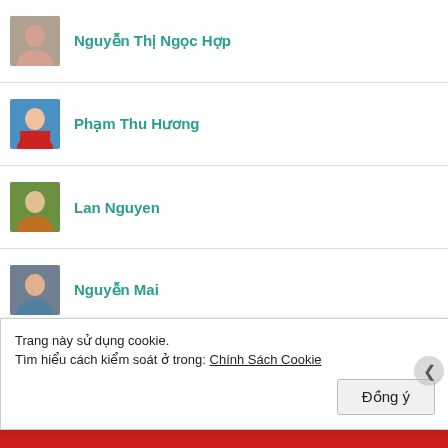Nguyễn Thị Ngọc Hợp
Phạm Thu Hương
Lan Nguyen
Nguyễn Mai
nguyenthilemy
Nguyễn Việt Hoàng
Trang này sử dụng cookie.
Tìm hiểu cách kiểm soát ở trong: Chính Sách Cookie
Đồng ý